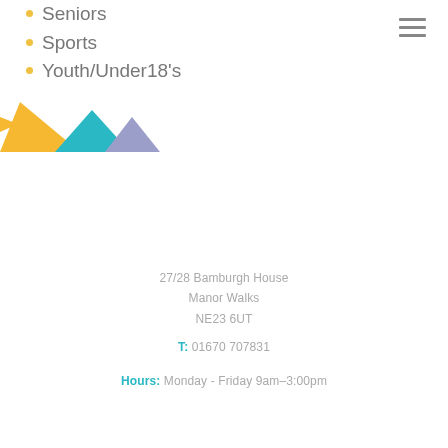Seniors
Sports
Youth/Under18's
[Figure (illustration): Decorative geometric logo with yellow, teal, and purple triangles forming a bird or leaf shape]
27/28 Bamburgh House
Manor Walks
NE23 6UT
T: 01670 707831
Hours: Monday - Friday 9am–3:00pm